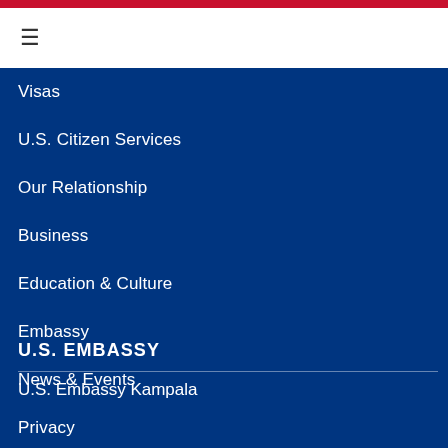≡
Visas
U.S. Citizen Services
Our Relationship
Business
Education & Culture
Embassy
News & Events
Privacy
Sitemap
U.S. EMBASSY
U.S. Embassy Kampala